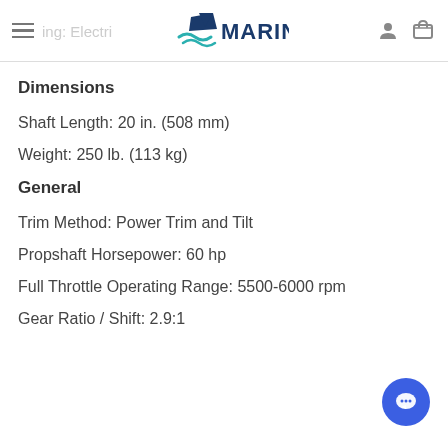Marine (logo header with hamburger menu, user icon, cart icon, partial text 'ing: Electri...')
Dimensions
Shaft Length: 20 in. (508 mm)
Weight: 250 lb. (113 kg)
General
Trim Method: Power Trim and Tilt
Propshaft Horsepower: 60 hp
Full Throttle Operating Range: 5500-6000 rpm
Gear Ratio / Shift: 2.9:1